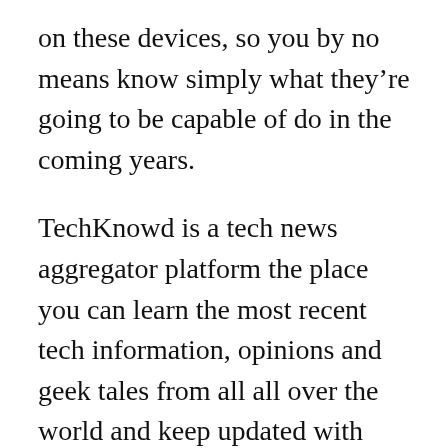on these devices, so you by no means know simply what they're going to be capable of do in the coming years.
TechKnowd is a tech news aggregator platform the place you can learn the most recent tech information, opinions and geek tales from all all over the world and keep updated with what is going on within the enviornment of technology, smartphones, gadgets, games, and apps. Get the most recent updates and reviews about technology in a tiny and compact app. Another instance of wearable expertise:Â Google Glass, which apparently will lastly come out with a industrial product for finish users in late 2014. Looking for extra?